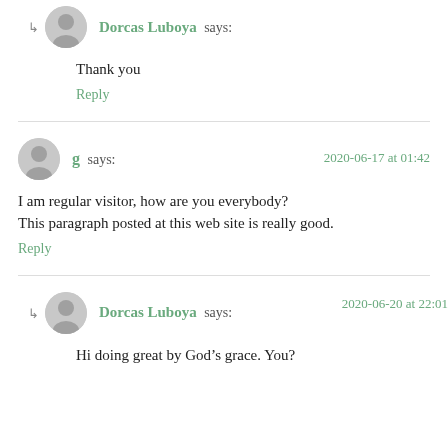Dorcas Luboya says:
Thank you
Reply
g says: 2020-06-17 at 01:42
I am regular visitor, how are you everybody? This paragraph posted at this web site is really good.
Reply
Dorcas Luboya says: 2020-06-20 at 22:01
Hi doing great by God’s grace. You?